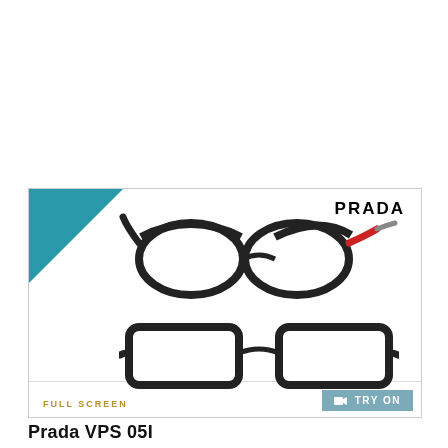[Figure (photo): Product card showing two views of Prada eyeglasses (VPS 05I): side/angled view on top showing black frames with red temple accent, and front view on bottom showing rectangular black frames. Card has a teal 'DESIGNER' diagonal banner in top-left corner, 'PRADA' logo in top-right, 'FULL SCREEN' text in gold at bottom-left, and a teal 'TRY ON' button with camera icon at bottom-right.]
Prada VPS 05I